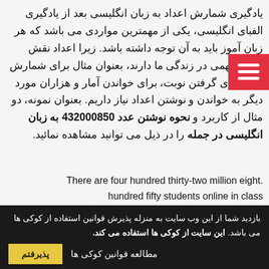یادگیری شمارش اعداد به زبان انگلیسی بعد از یادگیری الفبای انگلیسی، یکی از مهمترین مواردی می باشد که هر زبان آموز باید به آن توجه داشته باشد. زیرا اعداد نقش بسیار مهمی در زندگی ما دارند، بعنوان مثال برای شمارش پول، برای گرفتن نوبت، برای خواندن آمار و هزاران مورد دیگر به خواندن و نوشتن اعداد نیاز داریم. بعنوان نمونه، دو مثال از کاربرد و نحوه نوشتن عدد 432000850 به زبان انگلیسی در جمله را در ذیل می توانید مشاهده نمائید.
There are four hundred thirty-two million eight. hundred fifty students online in class
432000850 دانش آموز (دانشجو) در کلاس آنلاین هستند.
four hundred thirty-two million eight hundred fifty.
people were left homeless after the earthquake.
بازدید شما از این وب سایت به منزله پذیرش قوانین استفاده از کوکی ها می باشد. این سایت از کوکی ها استفاده می کند.
مطالعه قوانین کوکی ها
پذیرفتم